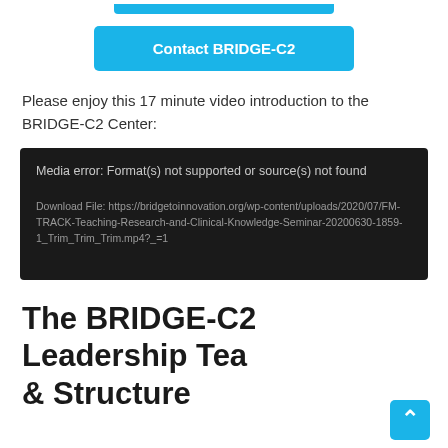[Figure (other): Partial cyan/blue button at top of page (cropped from previous section)]
[Figure (other): Cyan 'Contact BRIDGE-C2' button]
Please enjoy this 17 minute video introduction to the BRIDGE-C2 Center:
[Figure (screenshot): Dark media player error box showing: 'Media error: Format(s) not supported or source(s) not found' and 'Download File: https://bridgetoinnovation.org/wp-content/uploads/2020/07/FM-TRACK-Teaching-Research-and-Clinical-Knowledge-Seminar-20200630-1859-1_Trim_Trim_Trim.mp4?_=1']
The BRIDGE-C2 Leadership Team & Structure